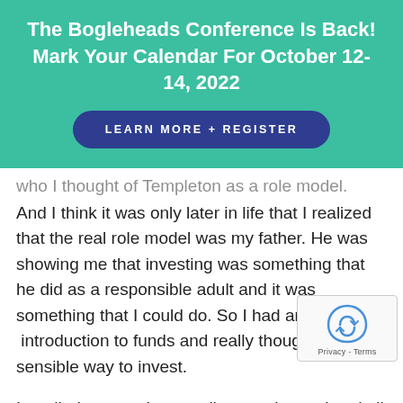The Bogleheads Conference Is Back! Mark Your Calendar For October 12-14, 2022
LEARN MORE + REGISTER
who I thought of Templeton as a role model.
And I think it was only later in life that I realized that the real role model was my father. He was showing me that investing was something that he did as a responsible adult and it was something that I could do. So I had an early  introduction to funds and really thought it was a sensible way to invest.
I studied economics at college and completed all my coursework in economics,